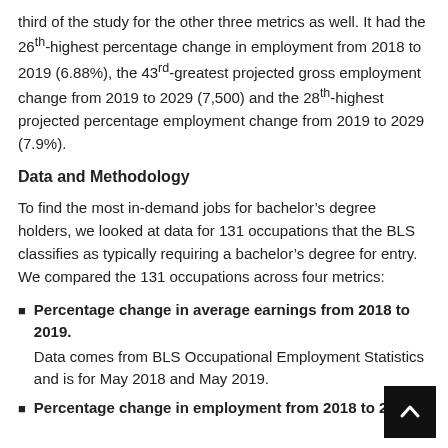third of the study for the other three metrics as well. It had the 26th-highest percentage change in employment from 2018 to 2019 (6.88%), the 43rd-greatest projected gross employment change from 2019 to 2029 (7,500) and the 28th-highest projected percentage employment change from 2019 to 2029 (7.9%).
Data and Methodology
To find the most in-demand jobs for bachelor’s degree holders, we looked at data for 131 occupations that the BLS classifies as typically requiring a bachelor’s degree for entry. We compared the 131 occupations across four metrics:
Percentage change in average earnings from 2018 to 2019. Data comes from BLS Occupational Employment Statistics and is for May 2018 and May 2019.
Percentage change in employment from 2018 to 2019.